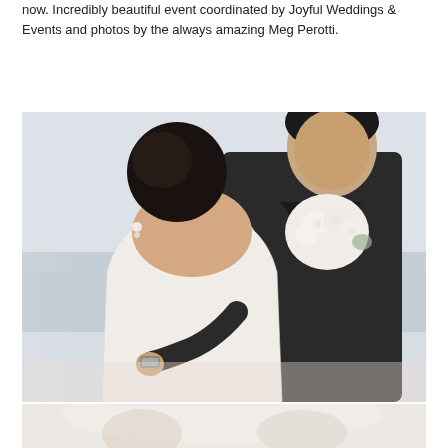now. Incredibly beautiful event coordinated by Joyful Weddings & Events and photos by the always amazing Meg Perotti.
SEE IT
[Figure (photo): Wedding couple portrait — bride in strapless lace gown seen from behind, holding white floral bouquet, embracing groom in dark suit, outdoor beach/ocean background with soft light]
[Figure (photo): Bottom portion of a second wedding photo — partial view showing light fabric and hints of a couple, soft light background]